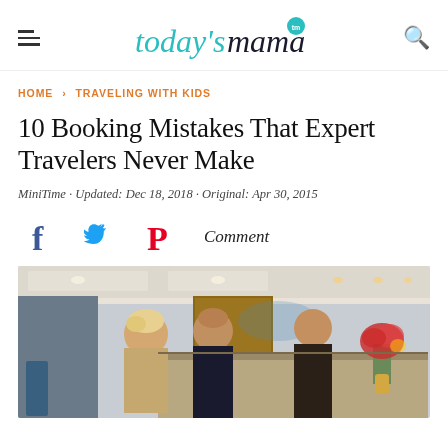today's mama
HOME > TRAVELING WITH KIDS
10 Booking Mistakes That Expert Travelers Never Make
MiniTime · Updated: Dec 18, 2018 · Original: Apr 30, 2015
[Figure (other): Social sharing icons: Facebook, Twitter, Pinterest, and Comment label]
[Figure (photo): Photo of travelers at a hotel check-in desk, with a man in a suit greeting a couple, flowers visible on right side]